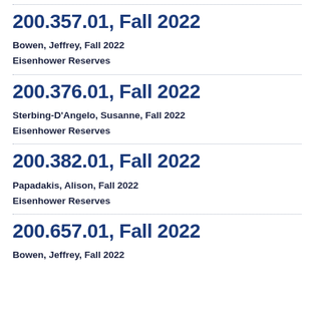200.357.01, Fall 2022
Bowen, Jeffrey, Fall 2022
Eisenhower Reserves
200.376.01, Fall 2022
Sterbing-D'Angelo, Susanne, Fall 2022
Eisenhower Reserves
200.382.01, Fall 2022
Papadakis, Alison, Fall 2022
Eisenhower Reserves
200.657.01, Fall 2022
Bowen, Jeffrey, Fall 2022